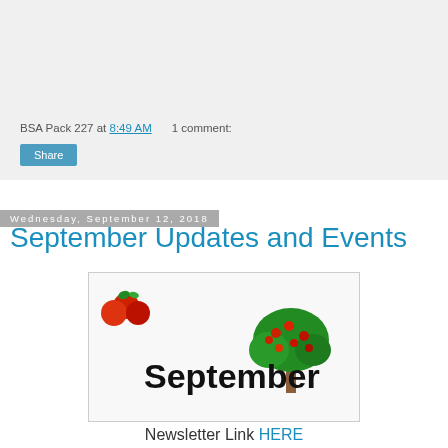BSA Pack 227 at 8:49 AM   1 comment:
Share
Wednesday, September 12, 2018
September Updates and Events
[Figure (illustration): September graphic with red apples and an apple tree, with the word 'September' in large black text]
Newsletter Link HERE